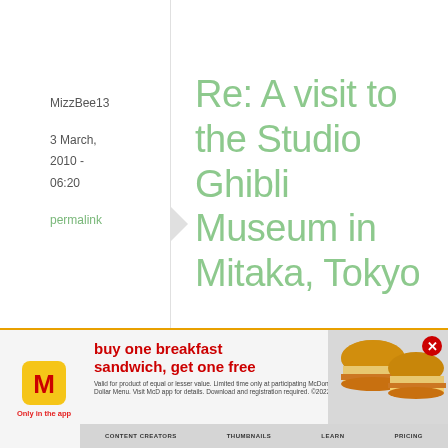MizzBee13
3 March, 2010 - 06:20
permalink
Re: A visit to the Studio Ghibli Museum in Mitaka, Tokyo
Hey Maki!
Thank you so
[Figure (other): McDonald's advertisement banner: buy one breakfast sandwich, get one free. Only in the app. Shows McDonald's logo, food images of breakfast sandwiches, and fine print.]